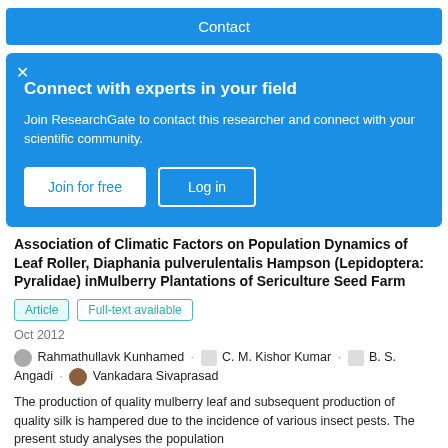Contact
[Figure (screenshot): ResearchGate modal overlay with blue background. Contains close X button, heading 'Connect with experts in your field', body text 'Join ResearchGate to contact this researcher and connect with your scientific community.', and two buttons: 'Join for free' and 'Log in'.]
Association of Climatic Factors on Population Dynamics of Leaf Roller, Diaphania pulverulentalis Hampson (Lepidoptera: Pyralidae) inMulberry Plantations of Sericulture Seed Farm
Article   Full-text available
Oct 2012
Rahmathullavk Kunhamed · C. M. Kishor Kumar · B. S. Angadi · Vankadara Sivaprasad
The production of quality mulberry leaf and subsequent production of quality silk is hampered due to the incidence of various insect pests. The present study analyses the population